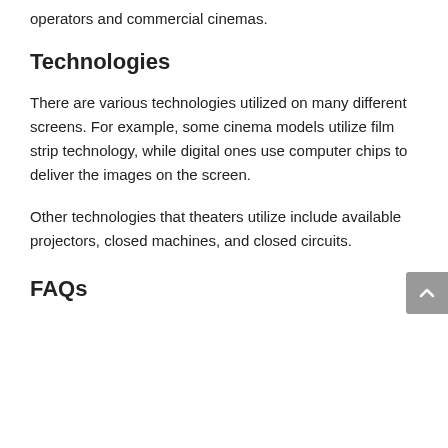operators and commercial cinemas.
Technologies
There are various technologies utilized on many different screens. For example, some cinema models utilize film strip technology, while digital ones use computer chips to deliver the images on the screen.
Other technologies that theaters utilize include available projectors, closed machines, and closed circuits.
FAQs